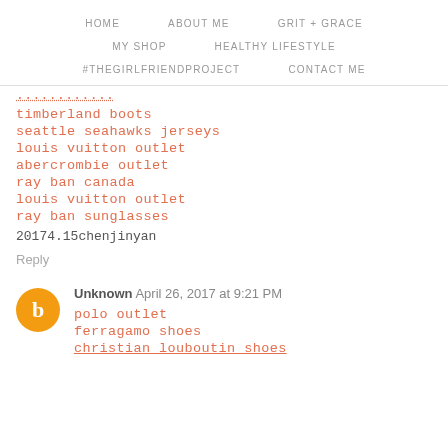HOME    ABOUT ME    GRIT + GRACE
MY SHOP    HEALTHY LIFESTYLE
#THEGIRLFRIENDPROJECT    CONTACT ME
timberland boots
seattle seahawks jerseys
louis vuitton outlet
abercrombie outlet
ray ban canada
louis vuitton outlet
ray ban sunglasses
20174.15chenjinyan
Reply
Unknown April 26, 2017 at 9:21 PM
polo outlet
ferragamo shoes
christian louboutin shoes